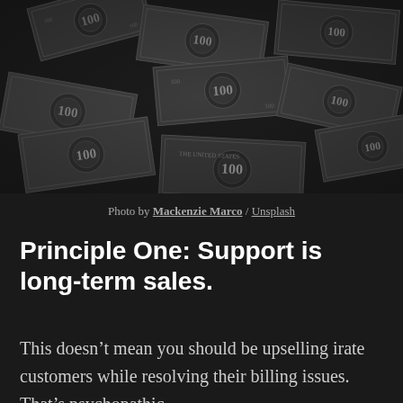[Figure (photo): Overhead view of scattered US $100 dollar bills in black and white/desaturated tones]
Photo by Mackenzie Marco / Unsplash
Principle One: Support is long-term sales.
This doesn’t mean you should be upselling irate customers while resolving their billing issues. That’s psychopathic.